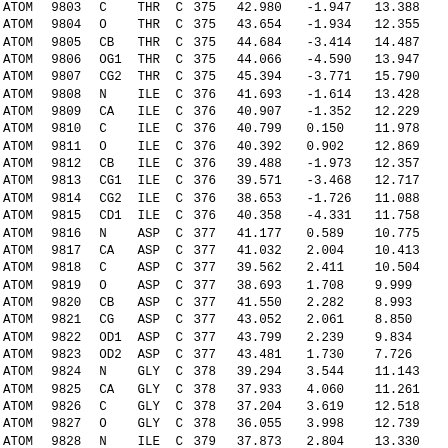| RECORD | SERIAL | ATOM | RES | CH | SEQ | X | Y | Z | ... |
| --- | --- | --- | --- | --- | --- | --- | --- | --- | --- |
| ATOM | 9803 | C | THR | C | 375 | 42.980 | -1.947 | 13.388 |  |
| ATOM | 9804 | O | THR | C | 375 | 43.654 | -1.934 | 12.355 |  |
| ATOM | 9805 | CB | THR | C | 375 | 44.684 | -3.414 | 14.487 |  |
| ATOM | 9806 | OG1 | THR | C | 375 | 44.066 | -4.590 | 13.947 |  |
| ATOM | 9807 | CG2 | THR | C | 375 | 45.394 | -3.771 | 15.790 |  |
| ATOM | 9808 | N | ILE | C | 376 | 41.693 | -1.614 | 13.428 |  |
| ATOM | 9809 | CA | ILE | C | 376 | 40.907 | -1.352 | 12.229 |  |
| ATOM | 9810 | C | ILE | C | 376 | 40.799 | 0.150 | 11.978 |  |
| ATOM | 9811 | O | ILE | C | 376 | 40.392 | 0.902 | 12.869 |  |
| ATOM | 9812 | CB | ILE | C | 376 | 39.488 | -1.973 | 12.357 |  |
| ATOM | 9813 | CG1 | ILE | C | 376 | 39.571 | -3.468 | 12.717 |  |
| ATOM | 9814 | CG2 | ILE | C | 376 | 38.653 | -1.726 | 11.088 |  |
| ATOM | 9815 | CD1 | ILE | C | 376 | 40.358 | -4.331 | 11.758 |  |
| ATOM | 9816 | N | ASP | C | 377 | 41.177 | 0.589 | 10.775 |  |
| ATOM | 9817 | CA | ASP | C | 377 | 41.032 | 2.004 | 10.413 |  |
| ATOM | 9818 | C | ASP | C | 377 | 39.562 | 2.411 | 10.504 |  |
| ATOM | 9819 | O | ASP | C | 377 | 38.693 | 1.708 | 9.999 |  |
| ATOM | 9820 | CB | ASP | C | 377 | 41.550 | 2.282 | 8.993 |  |
| ATOM | 9821 | CG | ASP | C | 377 | 43.052 | 2.061 | 8.850 |  |
| ATOM | 9822 | OD1 | ASP | C | 377 | 43.799 | 2.239 | 9.834 |  |
| ATOM | 9823 | OD2 | ASP | C | 377 | 43.481 | 1.730 | 7.726 |  |
| ATOM | 9824 | N | GLY | C | 378 | 39.294 | 3.544 | 11.143 |  |
| ATOM | 9825 | CA | GLY | C | 378 | 37.933 | 4.060 | 11.261 |  |
| ATOM | 9826 | C | GLY | C | 378 | 37.204 | 3.619 | 12.518 |  |
| ATOM | 9827 | O | GLY | C | 378 | 36.055 | 3.998 | 12.739 |  |
| ATOM | 9828 | N | ILE | C | 379 | 37.873 | 2.804 | 13.330 |  |
| ATOM | 9829 | CA | ILE | C | 379 | 37.358 | 2.387 | 14.632 |  |
| ATOM | 9830 | C | ILE | C | 379 | 38.256 | 2.981 | 15.715 |  |
| ATOM | 9831 | O | ILE | C | 379 | 39.477 | 2.801 | 15.691 |  |
| ATOM | 9832 | CB | ILE | C | 379 | 37.248 | 0.848 | 14.737 |  |
| ATOM | 9833 | CG1 | ILE | C | 379 | ... | ... | ... |  |